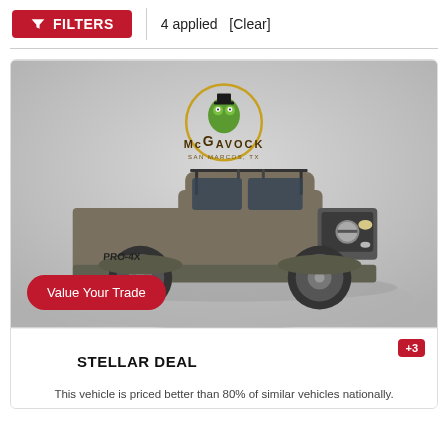FILTERS | 4 applied [Clear]
[Figure (photo): A gray Nissan Frontier pickup truck with roof rack, photographed at McGavock dealership San Marcos, TX. Dealer logo visible: McGavock San Marcos, TX with frog mascot. A 'Value Your Trade' button overlays the bottom-left of the image.]
STELLAR DEAL
This vehicle is priced better than 80% of similar vehicles nationally.